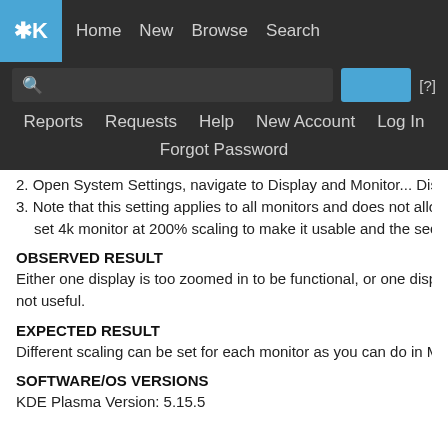KDE logo | Home | New | Browse | Search
Reports | Requests | Help | New Account | Log In
Forgot Password
2. Open System Settings, navigate to Display and Monitor... Dispa
3. Note that this setting applies to all monitors and does not allow set 4k monitor at 200% scaling to make it usable and the second
OBSERVED RESULT
Either one display is too zoomed in to be functional, or one display not useful.
EXPECTED RESULT
Different scaling can be set for each monitor as you can do in Ma
SOFTWARE/OS VERSIONS
KDE Plasma Version: 5.15.5